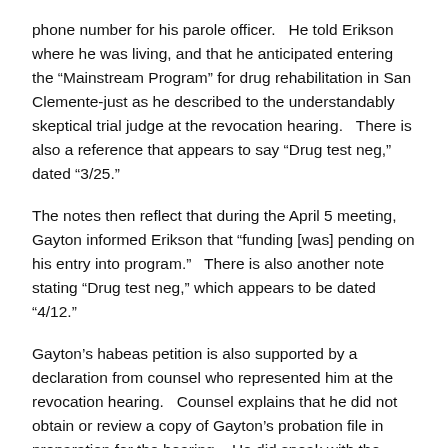phone number for his parole officer.   He told Erikson where he was living, and that he anticipated entering the “Mainstream Program” for drug rehabilitation in San Clemente-just as he described to the understandably skeptical trial judge at the revocation hearing.   There is also a reference that appears to say “Drug test neg,” dated “3/25.”
The notes then reflect that during the April 5 meeting, Gayton informed Erikson that “funding [was] pending on his entry into program.”   There is also another note stating “Drug test neg,” which appears to be dated “4/12.”
Gayton’s habeas petition is also supported by a declaration from counsel who represented him at the revocation hearing.   Counsel explains that he did not obtain or review a copy of Gayton’s probation file in preparation for the hearing.   He did speak with the probation officer, Erikson, prior to the hearing, and states he “did not get any indication that [Erikson] was going to say anything [to the judge] that was inconsistent”...